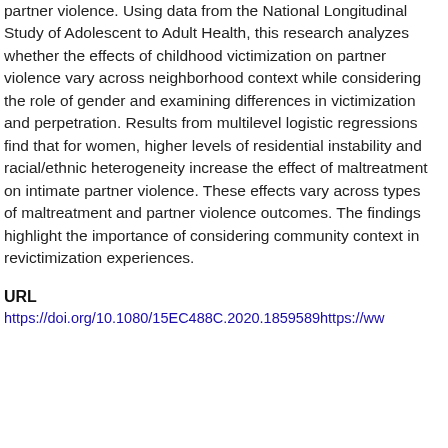partner violence. Using data from the National Longitudinal Study of Adolescent to Adult Health, this research analyzes whether the effects of childhood victimization on partner violence vary across neighborhood context while considering the role of gender and examining differences in victimization and perpetration. Results from multilevel logistic regressions find that for women, higher levels of residential instability and racial/ethnic heterogeneity increase the effect of maltreatment on intimate partner violence. These effects vary across types of maltreatment and partner violence outcomes. The findings highlight the importance of considering community context in revictimization experiences.
URL
https://doi.org/10.1080/15EC488C.2020.1859589https://ww...